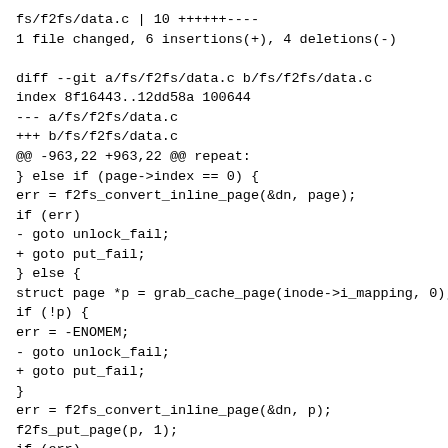fs/f2fs/data.c | 10 ++++++----
1 file changed, 6 insertions(+), 4 deletions(-)

diff --git a/fs/f2fs/data.c b/fs/f2fs/data.c
index 8f16443..12dd58a 100644
--- a/fs/f2fs/data.c
+++ b/fs/f2fs/data.c
@@ -963,22 +963,22 @@ repeat:
} else if (page->index == 0) {
err = f2fs_convert_inline_page(&dn, page);
if (err)
- goto unlock_fail;
+ goto put_fail;
} else {
struct page *p = grab_cache_page(inode->i_mapping, 0);
if (!p) {
err = -ENOMEM;
- goto unlock_fail;
+ goto put_fail;
}
err = f2fs_convert_inline_page(&dn, p);
f2fs_put_page(p, 1);
if (err)
- goto unlock_fail;
+ goto put_fail;